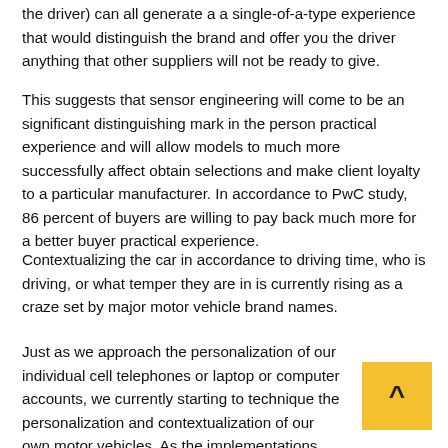the driver) can all generate a a single-of-a-type experience that would distinguish the brand and offer you the driver anything that other suppliers will not be ready to give.
This suggests that sensor engineering will come to be an significant distinguishing mark in the person practical experience and will allow models to much more successfully affect obtain selections and make client loyalty to a particular manufacturer. In accordance to PwC study, 86 percent of buyers are willing to pay back much more for a better buyer practical experience.
Contextualizing the car in accordance to driving time, who is driving, or what temper they are in is currently rising as a craze set by major motor vehicle brand names.
Just as we approach the personalization of our individual cell telephones or laptop or computer accounts, we currently starting to technique the personalization and contextualization of our own motor vehicles. As the implementations outlined under display, you can currently